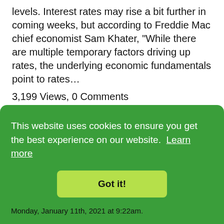levels. Interest rates may rise a bit further in coming weeks, but according to Freddie Mac chief economist Sam Khater, “While there are multiple temporary factors driving up rates, the underlying economic fundamentals point to rates…
3,199 Views, 0 Comments
Read Full Post »
This website uses cookies to ensure you get the best experience on our website.  Learn more
Got it!
Monday, January 11th, 2021 at 9:22am.